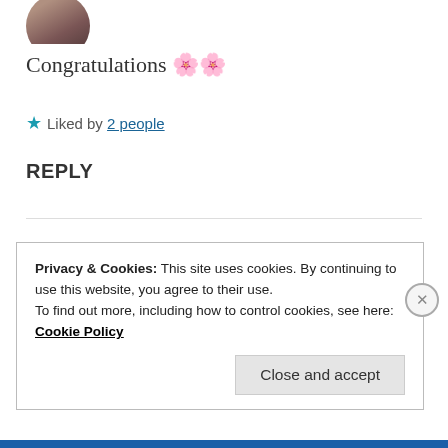[Figure (photo): Partial profile photo circle at top left, cropped]
Congratulations 🌸🌸
★ Liked by 2 people
REPLY
[Figure (photo): Round profile avatar of a person with dark hair]
ZEALOUS HOMO SAPIENS
13 Apr 2019 at 12:25 pm
Privacy & Cookies: This site uses cookies. By continuing to use this website, you agree to their use.
To find out more, including how to control cookies, see here: Cookie Policy
Close and accept